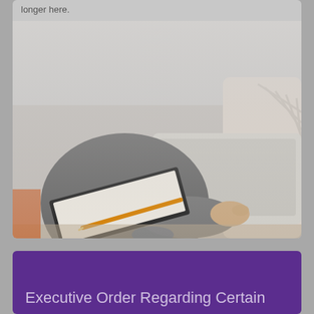[Figure (photo): Person in a grey sweater working on a laptop at a desk, with a tablet/clipboard and pencil visible in the foreground. Image is partially faded/muted at the top. Partial text visible at top: 'longer here.']
Executive Order Regarding Certain